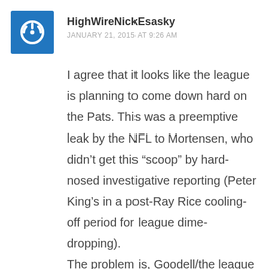HighWireNickEsasky
JANUARY 21, 2015 AT 9:26 AM
I agree that it looks like the league is planning to come down hard on the Pats. This was a preemptive leak by the NFL to Mortensen, who didn't get this “scoop” by hard-nosed investigative reporting (Peter King's in a post-Ray Rice cooling-off period for league dime-dropping).
The problem is, Goodell/the league has no credibility with the public so no one will believe them if the Pats are